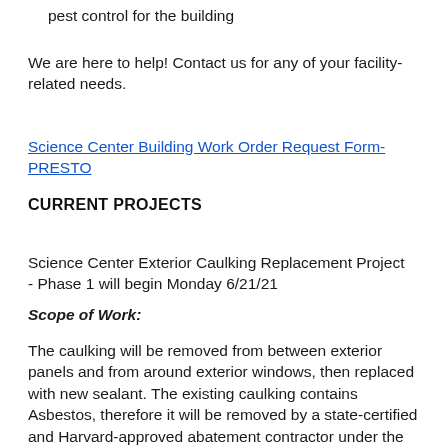pest control for the building
We are here to help! Contact us for any of your facility-related needs.
Science Center Building Work Order Request Form- PRESTO
CURRENT PROJECTS
Science Center Exterior Caulking Replacement Project - Phase 1 will begin Monday 6/21/21
Scope of Work:
The caulking will be removed from between exterior panels and from around exterior windows, then replaced with new sealant. The existing caulking contains Asbestos, therefore it will be removed by a state-certified and Harvard-approved abatement contractor under the supervision of a